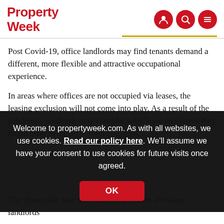Property Week
Post Covid-19, office landlords may find tenants demand a different, more flexible and attractive occupational experience.
In areas where offices are not occupied via leases, the leasing exclusion will not come into play. As a result of the pandemic, landlords may consider what lease incentives they might offer to attract potential tenants.
Welcome to propertyweek.com. As with all websites, we use cookies. Read our policy here. We'll assume we have your consent to use cookies for future visits once agreed.
The chancellor may have missed a trick in allowing landlords